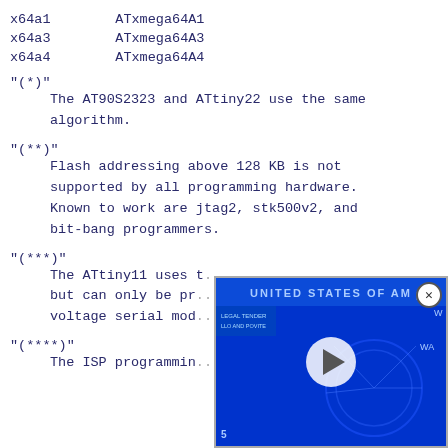x64a1        ATxmega64A1
x64a3        ATxmega64A3
x64a4        ATxmega64A4
"(*)"
    The AT90S2323 and ATtiny22 use the same
    algorithm.
"(**)"
    Flash addressing above 128 KB is not
    supported by all programming hardware.
    Known to work are jtag2, stk500v2, and
    bit-bang programmers.
"(***)"
    The ATtiny11 uses t...
    but can only be pro...
    voltage serial mode...
"(****)"
    The ISP programming...
[Figure (other): Advertisement overlay showing a video player with a US dollar bill background in blue tones, with a play button and a close (X) button.]